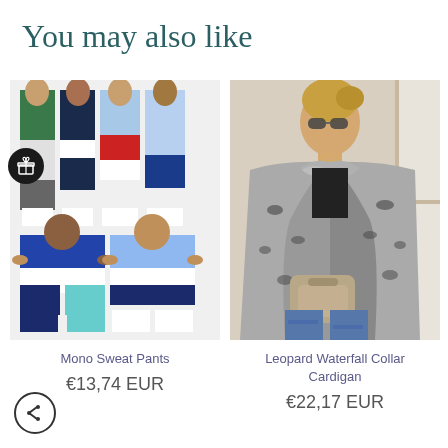You may also like
[Figure (photo): Multiple colorblock sweat pants on models, showing various color combinations including green/black/white, red/white/blue and blue/white/teal/navy colorblocking.]
Mono Sweat Pants
€13,74 EUR
[Figure (photo): Woman wearing a leopard print waterfall collar cardigan in grey/black, carrying a beige handbag, wearing sunglasses.]
Leopard Waterfall Collar Cardigan
€22,17 EUR